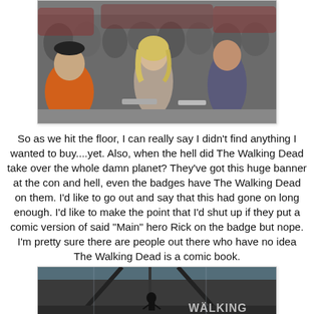[Figure (photo): Crowded convention floor with many people, a blonde woman visible prominently in the center.]
So as we hit the floor, I can really say I didn't find anything I wanted to buy....yet. Also, when the hell did The Walking Dead take over the whole damn planet? They've got this huge banner at the con and hell, even the badges have The Walking Dead on them. I'd like to go out and say that this had gone on long enough. I'd like to make the point that I'd shut up if they put a comic version of said "Main" hero Rick on the badge but nope. I'm pretty sure there are people out there who have no idea The Walking Dead is a comic book.
[Figure (photo): The Walking Dead banner/display at a convention, showing a silhouetted figure with the WALKING text visible in bottom right.]